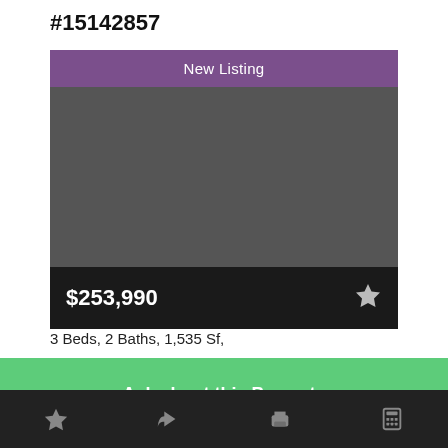#15142857
[Figure (screenshot): Property listing card with purple 'New Listing' badge, gray image placeholder, dark price bar showing $253,990 with a star/favorite icon]
3 Beds, 2 Baths, 1,535 Sf,
Ask about this Property
Bottom navigation bar with star, share, print, and calculator icons